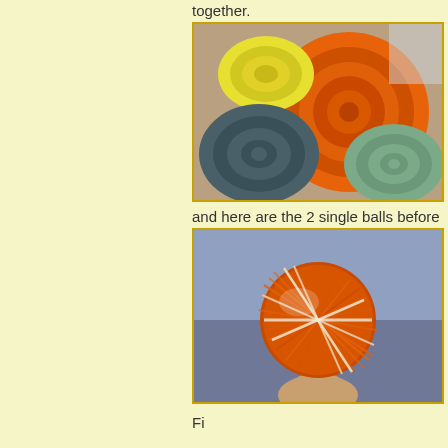together.
[Figure (photo): Colorful rolls of wool roving in yellow, orange, teal/grey, and sage green colors arranged together]
and here are the 2 single balls before plying (t
[Figure (photo): A hand holding a ball of orange yarn with white/cream threads wound around it]
Fi